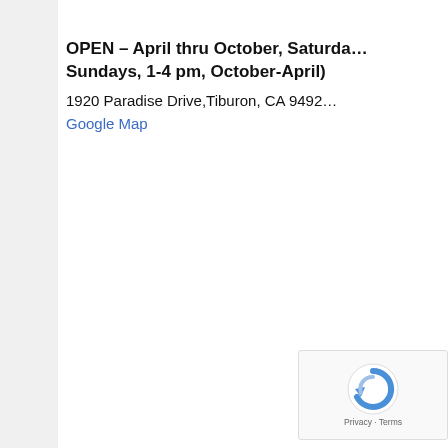OPEN – April thru October, Saturda… Sundays, 1-4 pm, October-April)
1920 Paradise Drive,Tiburon, CA 9492…
Google Map
[Figure (other): reCAPTCHA logo with Privacy and Terms links]